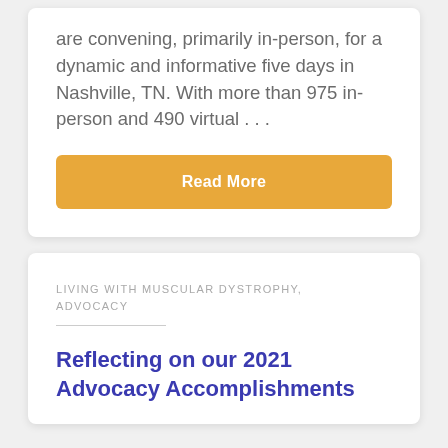are convening, primarily in-person, for a dynamic and informative five days in Nashville, TN. With more than 975 in-person and 490 virtual . . .
Read More
LIVING WITH MUSCULAR DYSTROPHY, ADVOCACY
Reflecting on our 2021 Advocacy Accomplishments